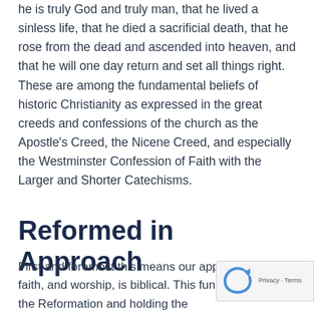he is truly God and truly man, that he lived a sinless life, that he died a sacrificial death, that he rose from the dead and ascended into heaven, and that he will one day return and set all things right. These are among the fundamental beliefs of historic Christianity as expressed in the great creeds and confessions of the church as the Apostle's Creed, the Nicene Creed, and especially the Westminster Confession of Faith with the Larger and Shorter Catechisms.
Reformed in Approach
First and foremost this means our approach ministry, faith, and worship, is biblical. This fundamental to the Reformation and holding the